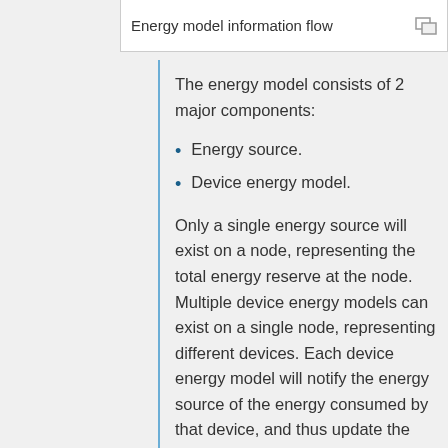Energy model information flow
The energy model consists of 2 major components:
Energy source.
Device energy model.
Only a single energy source will exist on a node, representing the total energy reserve at the node. Multiple device energy models can exist on a single node, representing different devices. Each device energy model will notify the energy source of the energy consumed by that device, and thus update the remaining energy of the source. When energy is completely drained, the energy source will notify all device energy models connected to it.